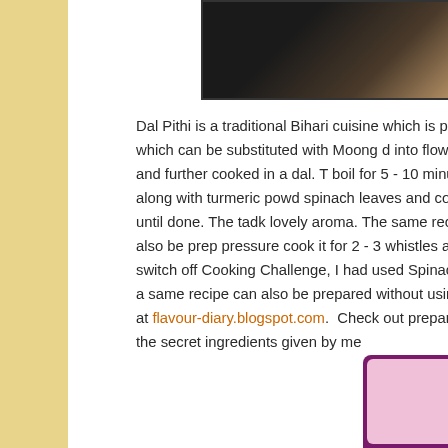[Figure (photo): Dark photo of food item cropped at top right of page]
Dal Pithi is a traditional Bihari cuisine which is p... Toor dal which can be substituted with Moong d... into flower shape and further cooked in a dal. T... boil for 5 - 10 minutes along with turmeric powd... spinach leaves and cooked until done. The tadk... lovely aroma. The same recipe can also be prep... pressure cook it for 2 - 3 whistles and switch off... Cooking Challenge, I had used Spinach in dal a... same recipe can also be prepared without using... blogs at flavour-diary.blogspot.com.  Check out... prepared by the secret ingredients given by me...
[Figure (screenshot): Bottom right widget with pink background and close button]